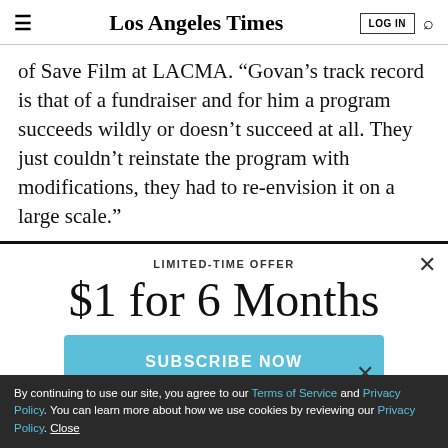Los Angeles Times
of Save Film at LACMA. “Govan’s track record is that of a fundraiser and for him a program succeeds wildly or doesn’t succeed at all. They just couldn’t reinstate the program with modifications, they had to re-envision it on a large scale.”
LIMITED-TIME OFFER
$1 for 6 Months
SUBSCRIBE NOW
By continuing to use our site, you agree to our Terms of Service and Privacy Policy. You can learn more about how we use cookies by reviewing our Privacy Policy. Close